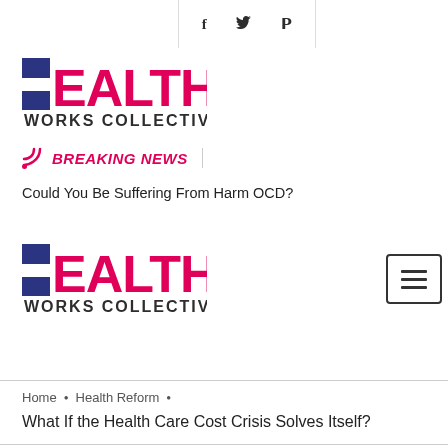[Figure (other): Social share bar with Facebook (f), Twitter (bird), and Pinterest (P) icons in a bordered box]
[Figure (logo): Health Works Collective logo — stylized HEALTH in pink/magenta and dark blue block letters, WORKS COLLECTIVE in dark gray below]
BREAKING NEWS
Could You Be Suffering From Harm OCD?
[Figure (logo): Health Works Collective logo (second instance) with hamburger menu button on the right]
Home • Health Reform •
What If the Health Care Cost Crisis Solves Itself?